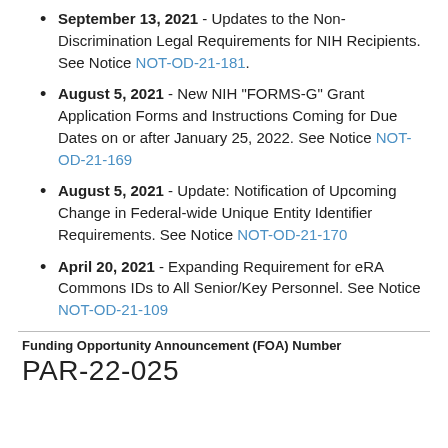September 13, 2021 - Updates to the Non-Discrimination Legal Requirements for NIH Recipients. See Notice NOT-OD-21-181.
August 5, 2021 - New NIH "FORMS-G" Grant Application Forms and Instructions Coming for Due Dates on or after January 25, 2022. See Notice NOT-OD-21-169
August 5, 2021 - Update: Notification of Upcoming Change in Federal-wide Unique Entity Identifier Requirements. See Notice NOT-OD-21-170
April 20, 2021 - Expanding Requirement for eRA Commons IDs to All Senior/Key Personnel. See Notice NOT-OD-21-109
Funding Opportunity Announcement (FOA) Number
PAR-22-025